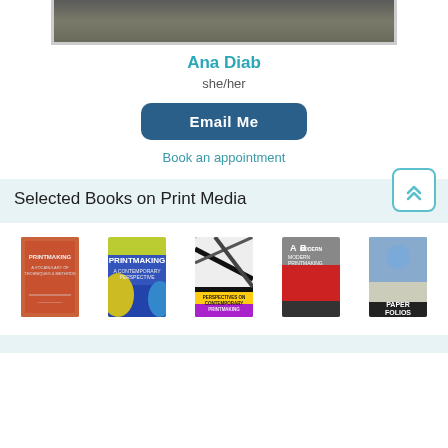[Figure (photo): Partial profile photo of Ana Diab, cropped at bottom of frame]
Ana Diab
she/her
Email Me
Book an appointment
Selected Books on Print Media
[Figure (photo): Five book covers on print media and printmaking displayed in a row]